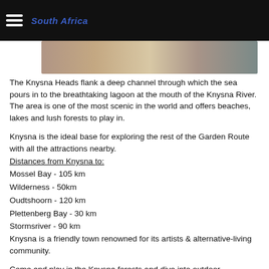South Africa
[Figure (photo): Scenic photo strip of Knysna Heads area]
The Knysna Heads flank a deep channel through which the sea pours in to the breathtaking lagoon at the mouth of the Knysna River. The area is one of the most scenic in the world and offers beaches, lakes and lush forests to play in.
Knysna is the ideal base for exploring the rest of the Garden Route with all the attractions nearby.
Distances from Knysna to:
Mossel Bay - 105 km
Wilderness - 50km
Oudtshoorn - 120 km
Plettenberg Bay - 30 km
Stormsriver - 90 km
Knysna is a friendly town renowned for its artists & alternative-living community.
Come and play in the Knysna forests and dive into outdoor adventures like horse riding, hiking, yachting, fishing and canoeing. For a pure adrenalin rush get into the more extreme sports of abseiling, paragliding, scuba diving or water-skiing and some of the best mountain bike routes in the country. Knysna has something for everyone - from the very young to the well matured and for every size, shape and temperament.
Knysna boasts an array of unique species including the Knysna seahorse, the famous Knysna Loerie, the endangered dwarf chameleon and Brenton Blue Butterfly. The area also hosts some of the biggest wildlife creatures - the Humpback and Southern Right whales visit the coastline during the months of